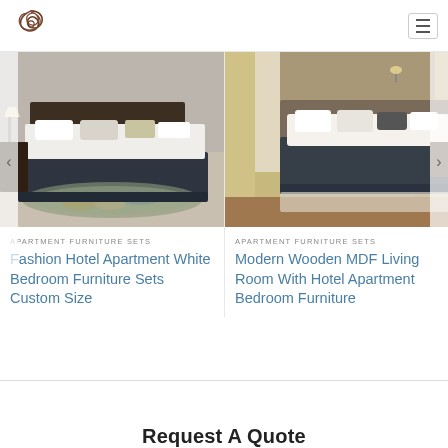[Figure (logo): Decorative swirl/knot logo mark in dark brown]
[Figure (photo): Hotel apartment bedroom with white bedding, dark bed frame, patterned rug, lamp on nightstand]
APARTMENT FURNITURE SETS
Fashion Hotel Apartment White Bedroom Furniture Sets Custom Size
[Figure (photo): Modern hotel apartment bedroom with white bedding, dark upholstered bed, curtains, wooden floor]
APARTMENT FURNITURE SETS
Modern Wooden MDF Living Room With Hotel Apartment Bedroom Furniture
Request A Quote